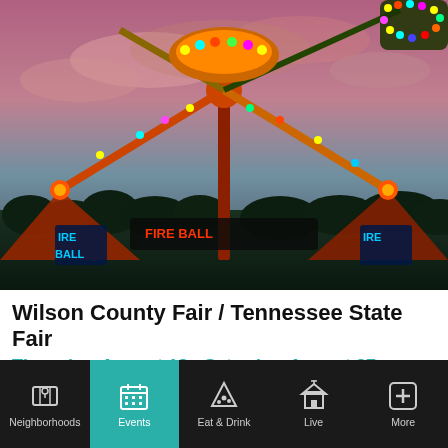[Figure (photo): Fair carnival ride (fire ball/swing ride) lit up at dusk with colorful lights against a pink and blue cloudy sky, trees in background]
Wilson County Fair / Tennessee State Fair
Thursday, August 18 - Saturday, August 27
[Figure (photo): Nighttime scene with red light streaks, dark background]
Neighborhoods | Events | Eat & Drink | Live | More